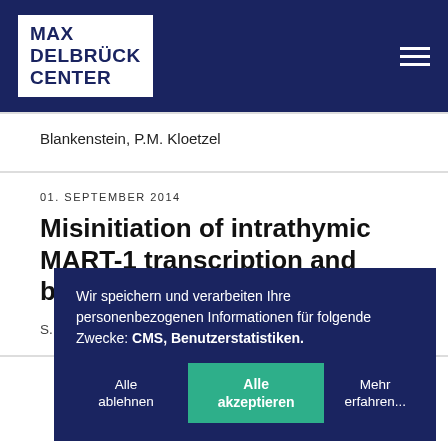[Figure (logo): Max Delbrück Center logo - white logo on navy blue header bar with hamburger menu]
Blankenstein, P.M. Kloetzel
01. SEPTEMBER 2014
Misinitiation of intrathymic MART-1 transcription and biased TCR u... frequ... cells
S. Pinto, D... Schendel...
Wir speichern und verarbeiten Ihre personenbezogenen Informationen für folgende Zwecke: CMS, Benutzerstatistiken.
Alle ablehnen | Alle akzeptieren | Mehr erfahren...